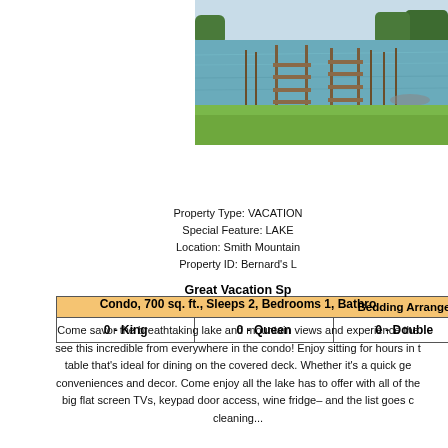[Figure (photo): Waterfront lake scene with wooden docks/piers extending into calm blue-green water, boats moored, green lawn in foreground, trees in background]
| Bedding Arrangements |  |  |
| --- | --- | --- |
| 0 - King | 0 - Queen | 0 - Double |
Property Type: VACATION
Special Feature: LAKE
Location: Smith Mountain
Property ID: Bernard's L
Great Vacation Sp
Condo, 700 sq. ft., Sleeps 2, Bedrooms 1, Bathro
Come savor the breathtaking lake and mountain views and experience the see this incredible from everywhere in the condo! Enjoy sitting for hours in t table that's ideal for dining on the covered deck. Whether it's a quick ge conveniences and decor. Come enjoy all the lake has to offer with all of the big flat screen TVs, keypad door access, wine fridge– and the list goes c cleaning...